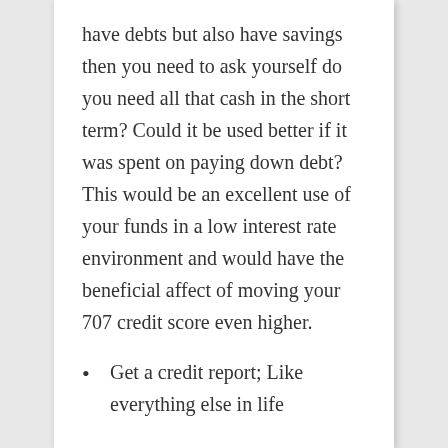have debts but also have savings then you need to ask yourself do you need all that cash in the short term? Could it be used better if it was spent on paying down debt? This would be an excellent use of your funds in a low interest rate environment and would have the beneficial affect of moving your 707 credit score even higher.
Get a credit report; Like everything else in life